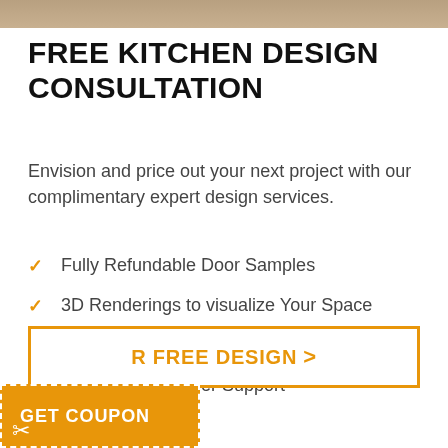[Figure (photo): Top portion of a kitchen photo, partially visible]
FREE KITCHEN DESIGN CONSULTATION
Envision and price out your next project with our complimentary expert design services.
Fully Refundable Door Samples
3D Renderings to visualize Your Space
Cabinet List & Cart Link for Easy Checkout
Excellent Customer Support
R FREE DESIGN >
GET COUPON